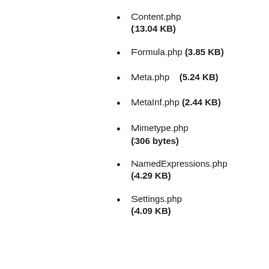Content.php (13.04 KB)
Formula.php (3.85 KB)
Meta.php (5.24 KB)
MetaInf.php (2.44 KB)
Mimetype.php (306 bytes)
NamedExpressions.php (4.29 KB)
Settings.php (4.09 KB)